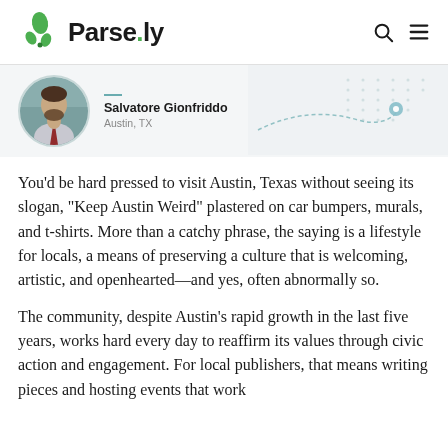[Figure (logo): Parse.ly logo with green leaf icon and bold text]
[Figure (photo): Profile photo of Salvatore Gionfriddo with map background showing Austin, TX location pin]
Salvatore Gionfriddo
Austin, TX
You’d be hard pressed to visit Austin, Texas without seeing its slogan, “Keep Austin Weird” plastered on car bumpers, murals, and t-shirts. More than a catchy phrase, the saying is a lifestyle for locals, a means of preserving a culture that is welcoming, artistic, and openhearted—and yes, often abnormally so.
The community, despite Austin’s rapid growth in the last five years, works hard every day to reaffirm its values through civic action and engagement. For local publishers, that means writing pieces and hosting events that work